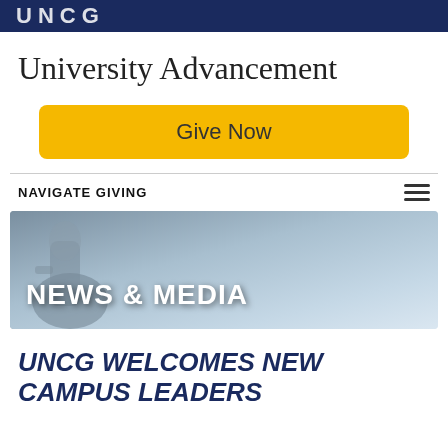UNCG
University Advancement
Give Now
NAVIGATE GIVING
[Figure (photo): Banner image with 'NEWS & MEDIA' text overlay on a blue-grey background with a statue silhouette on the left]
UNCG WELCOMES NEW CAMPUS LEADERS